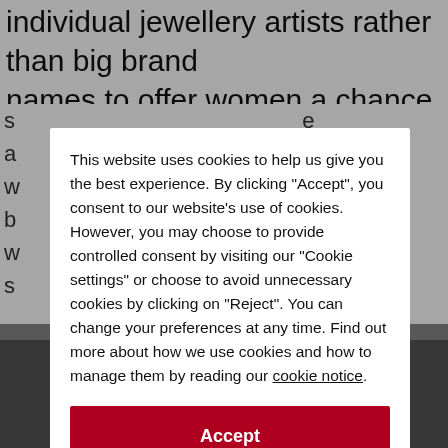individual jewellery artists rather than big brand names to offer women a chance of finding
This website uses cookies to help us give you the best experience. By clicking "Accept", you consent to our website's use of cookies. However, you may choose to provide controlled consent by visiting our "Cookie settings" or choose to avoid unnecessary cookies by clicking on "Reject". You can change your preferences at any time. Find out more about how we use cookies and how to manage them by reading our cookie notice.
Accept
Reject
Cookie settings